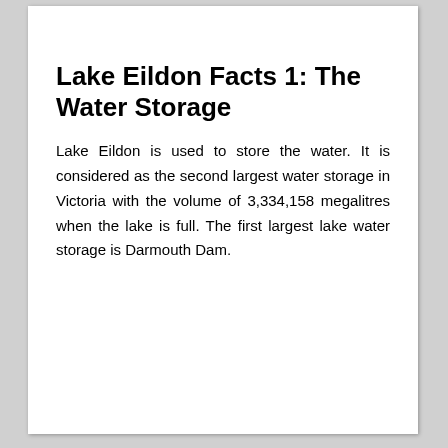Lake Eildon Facts 1: The Water Storage
Lake Eildon is used to store the water. It is considered as the second largest water storage in Victoria with the volume of 3,334,158 megalitres when the lake is full. The first largest lake water storage is Darmouth Dam.